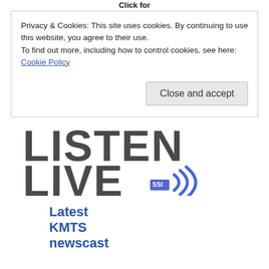Click for
Profile
Privacy & Cookies: This site uses cookies. By continuing to use this website, you agree to their use.
To find out more, including how to control cookies, see here:
Cookie Policy
Close and accept
[Figure (logo): LISTEN LIVE logo with SSI badge and radio wave arcs in blue]
Latest KMTS newscast